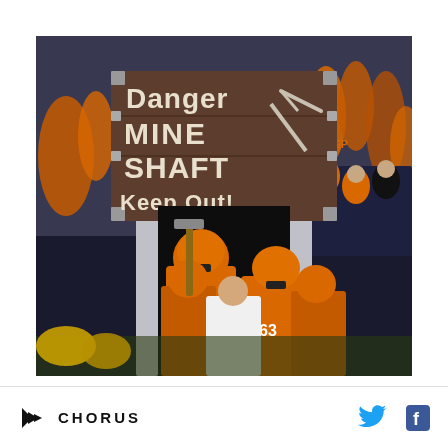[Figure (photo): UTEP Miners football players in orange helmets and jerseys (numbers 2 and 63 visible) emerging from a tunnel entrance fashioned as a mine shaft prop, holding a pickaxe. A hand-painted sign above reads 'Danger MINE SHAFT Keep Out!' with a drawing of a pickaxe. Fans in orange UTEP gear fill the stadium stands in the background. A 'SECTIONS 16-17' sign is visible on the stadium wall.]
CHORUS  [Twitter icon]  [Facebook icon]